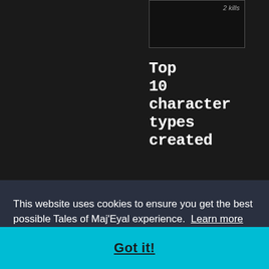[Figure (screenshot): A dark screenshot box showing '2 kills' text in the top right corner]
Top 10 character types created
Halfling Archer (Maj'Eyal;
This website uses cookies to ensure you get the best possible Tales of Maj'Eyal experience.  Learn more
Got it!